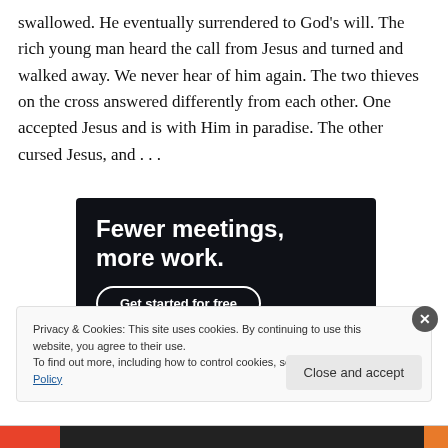swallowed. He eventually surrendered to God's will. The rich young man heard the call from Jesus and turned and walked away. We never hear of him again. The two thieves on the cross answered differently from each other. One accepted Jesus and is with Him in paradise. The other cursed Jesus, and . . .
[Figure (other): Advertisement banner with dark background showing text 'Fewer meetings, more work.' and a 'Get started for free' button]
Privacy & Cookies: This site uses cookies. By continuing to use this website, you agree to their use.
To find out more, including how to control cookies, see here: Cookie Policy
Close and accept